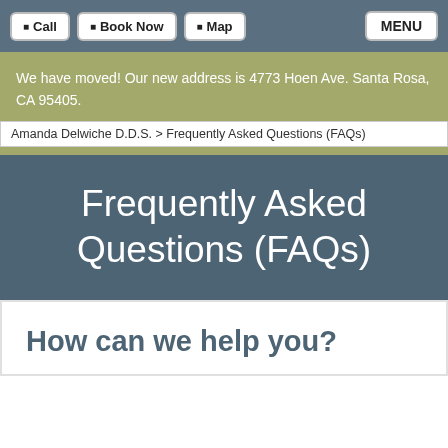Call | Book Now | Map | MENU
We have moved! Our new address is 4773 Hoen Ave. Santa Rosa, CA 95405.
Amanda Delwiche D.D.S. > Frequently Asked Questions (FAQs)
Frequently Asked Questions (FAQs)
How can we help you?